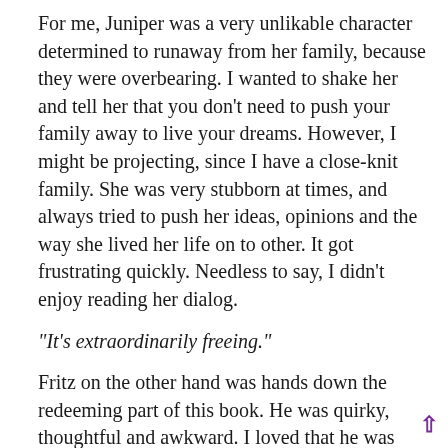For me, Juniper was a very unlikable character determined to runaway from her family, because they were overbearing. I wanted to shake her and tell her that you don't need to push your family away to live your dreams. However, I might be projecting, since I have a close-knit family. She was very stubborn at times, and always tried to push her ideas, opinions and the way she lived her life on to other. It got frustrating quickly. Needless to say, I didn't enjoy reading her dialog.
“It’s extraordinarily freeing.”
Fritz on the other hand was hands down the redeeming part of this book. He was quirky, thoughtful and awkward. I loved that he was willing to give up all his dreams for his mom, and make new goals for her sake. I enjoyed the moments between